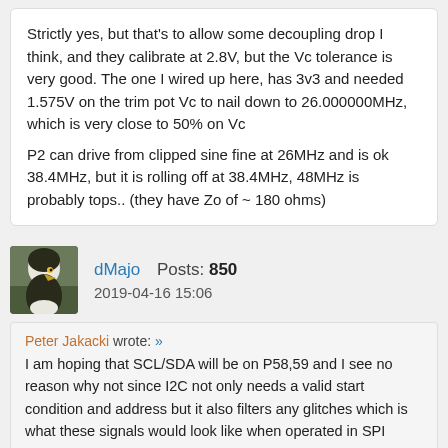Strictly yes, but that's to allow some decoupling drop I think, and they calibrate at 2.8V, but the Vc tolerance is very good. The one I wired up here, has 3v3 and needed 1.575V on the trim pot Vc to nail down to 26.000000MHz, which is very close to 50% on Vc
P2 can drive from clipped sine fine at 26MHz and is ok 38.4MHz, but it is rolling off at 38.4MHz, 48MHz is probably tops.. (they have Zo of ~ 180 ohms)
dMajo   Posts: 850
2019-04-16 15:06
Peter Jakacki wrote: »
I am hoping that SCL/SDA will be on P58,59 and I see no reason why not since I2C not only needs a valid start condition and address but it also filters any glitches which is what these signals would look like when operated in SPI mode. So the monitor can communicate with the P2 and vice-versa via I2C so